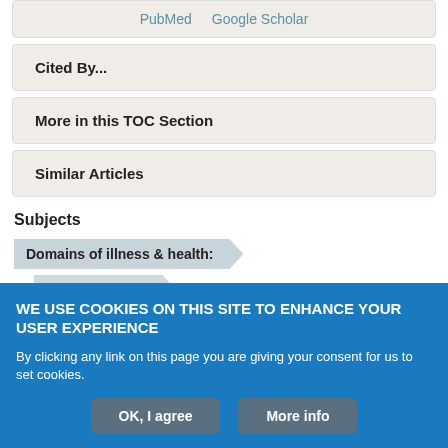PubMed   Google Scholar
Cited By...
More in this TOC Section
Similar Articles
Subjects
Domains of illness & health:
Chronic illness
WE USE COOKIES ON THIS SITE TO ENHANCE YOUR USER EXPERIENCE
By clicking any link on this page you are giving your consent for us to set cookies.
OK, I agree   More info